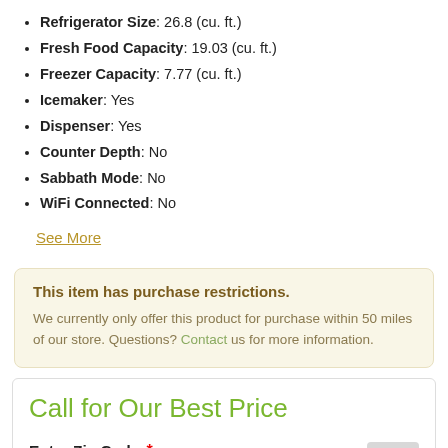Refrigerator Size: 26.8 (cu. ft.)
Fresh Food Capacity: 19.03 (cu. ft.)
Freezer Capacity: 7.77 (cu. ft.)
Icemaker: Yes
Dispenser: Yes
Counter Depth: No
Sabbath Mode: No
WiFi Connected: No
See More
This item has purchase restrictions. We currently only offer this product for purchase within 50 miles of our store. Questions? Contact us for more information.
Call for Our Best Price
Enter Zip Code * For delivery options and item availability.